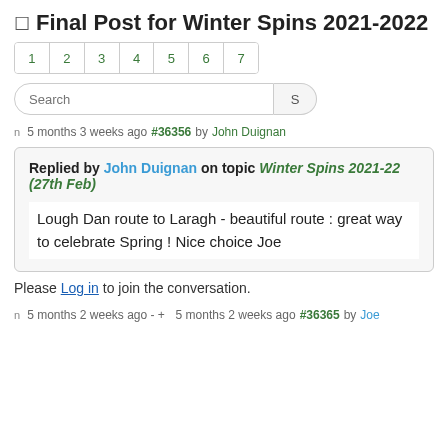Final Post for Winter Spins 2021-2022
1  2  3  4  5  6  7
5 months 3 weeks ago #36356 by John Duignan
Replied by John Duignan on topic Winter Spins 2021-22 (27th Feb)

Lough Dan route to Laragh - beautiful route : great way to celebrate Spring ! Nice choice Joe
Please Log in to join the conversation.
5 months 2 weeks ago - +  5 months 2 weeks ago #36365 by Joe